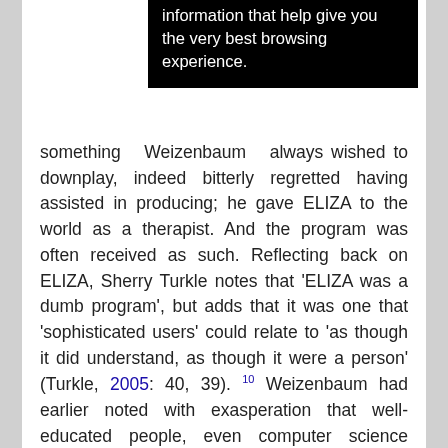[Figure (screenshot): Black tooltip/popup overlay showing text: 'information that help give you the very best browsing experience.']
something Weizenbaum always wished to downplay, indeed bitterly regretted having assisted in producing; he gave ELIZA to the world as a therapist. And the program was often received as such. Reflecting back on ELIZA, Sherry Turkle notes that 'ELIZA was a dumb program', but adds that it was one that 'sophisticated users' could relate to 'as though it did understand, as though it were a person' (Turkle, 2005: 40, 39). ¹⁰ Weizenbaum had earlier noted with exasperation that well-educated people, even computer science specialists and those in circles that might be expected (he felt) to know better, found something compelling, and personal, about their interactions with ELIZA. Notoriously,